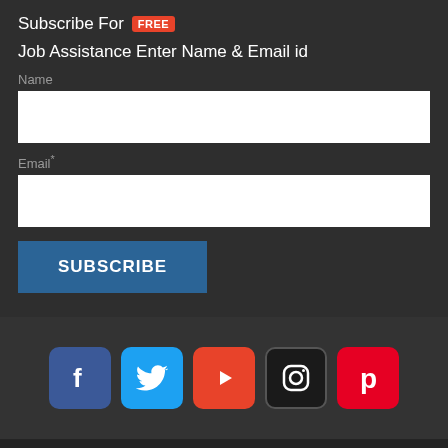Subscribe For FREE Job Assistance Enter Name & Email id
Name
Email*
SUBSCRIBE
[Figure (infographic): Social media icons row: Facebook (blue), Twitter (light blue), YouTube (red), Instagram (black), Pinterest (red)]
Copyright ©NirmalGyan Enterprises | HR Solutions 2015-2021